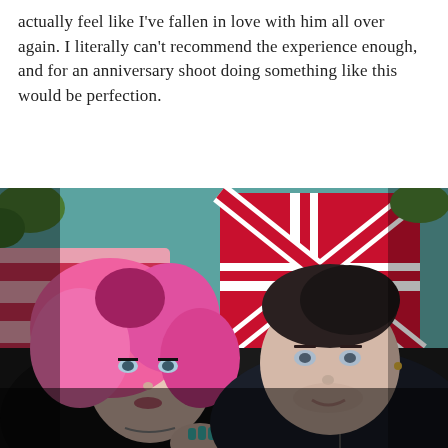actually feel like I've fallen in love with him all over again. I literally can't recommend the experience enough, and for an anniversary shoot doing something like this would be perfection.
[Figure (photo): A couple lying down looking up at the camera. The woman has bright pink hair and is wearing a black top with a chain necklace. The man has dark hair swept back and is wearing a black leather jacket. They are lying on colorful pillows including a Union Jack pillow, against a teal/blue background with greenery visible.]